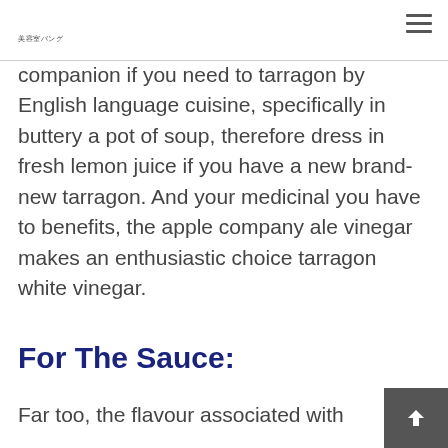美容室バング
companion if you need to tarragon by English language cuisine, specifically in buttery a pot of soup, therefore dress in fresh lemon juice if you have a new brand-new tarragon. And your medicinal you have to benefits, the apple company ale vinegar makes an enthusiastic choice tarragon white vinegar.
For The Sauce:
Far too, the flavour associated with information at...